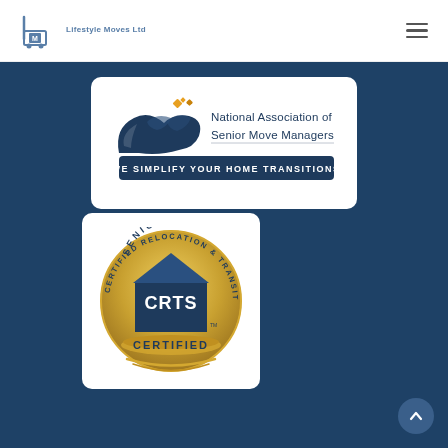Lifestyle Moves Ltd
[Figure (logo): National Association of Senior Move Managers logo with tagline WE SIMPLIFY YOUR HOME TRANSITIONS]
[Figure (logo): CRTS Certified Relocation & Transition Specialist Senior Certified badge/seal]